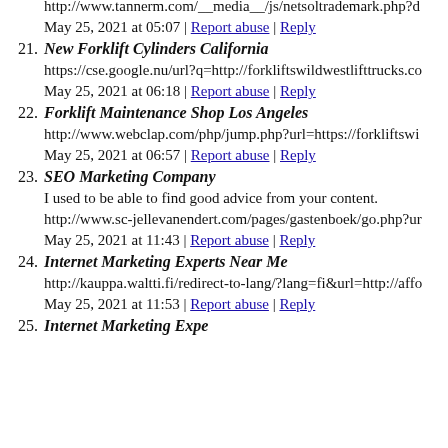http://www.tannerm.com/__media__/js/netsoltrademark.php?d
May 25, 2021 at 05:07 | Report abuse | Reply
21. New Forklift Cylinders California
https://cse.google.nu/url?q=http://forkliftswildwestlifttrucks.co
May 25, 2021 at 06:18 | Report abuse | Reply
22. Forklift Maintenance Shop Los Angeles
http://www.webclap.com/php/jump.php?url=https://forkliftswi
May 25, 2021 at 06:57 | Report abuse | Reply
23. SEO Marketing Company
I used to be able to find good advice from your content.
http://www.sc-jellevanendert.com/pages/gastenboek/go.php?ur
May 25, 2021 at 11:43 | Report abuse | Reply
24. Internet Marketing Experts Near Me
http://kauppa.waltti.fi/redirect-to-lang/?lang=fi&url=http://affo
May 25, 2021 at 11:53 | Report abuse | Reply
25. Internet Marketing Expe...